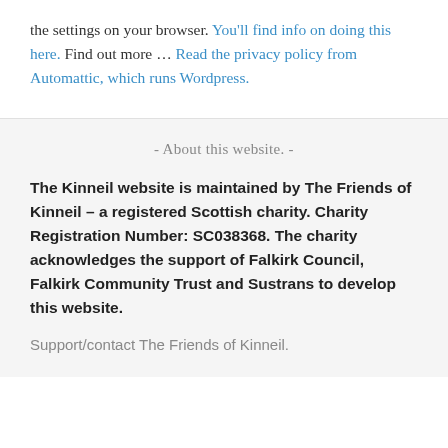the settings on your browser. You'll find info on doing this here. Find out more ... Read the privacy policy from Automattic, which runs Wordpress.
- About this website. -
The Kinneil website is maintained by The Friends of Kinneil – a registered Scottish charity. Charity Registration Number: SC038368. The charity acknowledges the support of Falkirk Council, Falkirk Community Trust and Sustrans to develop this website.
Support/contact The Friends of Kinneil.